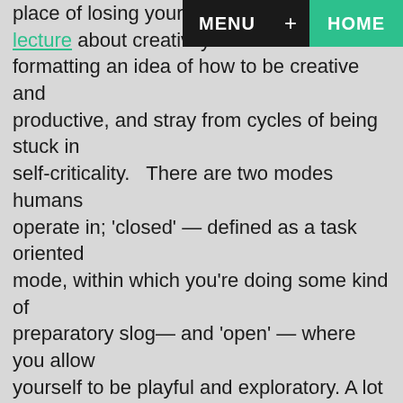place of losing yourself. This lecture about creativity has been formatting an idea of how to be creative and productive, and stray from cycles of being stuck in self-criticality.  There are two modes humans operate in; 'closed' — defined as a task oriented mode, within which you're doing some kind of preparatory slog— and 'open' — where you allow yourself to be playful and exploratory. A lot of times there are closed mode tasks that need to be done to make the time when you're getting open creatively more interesting. A closed mode activity for us, would be filling sound banks on our samplers or finding new synth patches. Sometimes it can be hard to get into the open mode or to be open and really productive. The preparation that you do get into this mode is super important, basically so that you have exciting material to work with when you're feeling playing. Another thing I've noticed is that closed mode activity can lead to procrastination. Whether because you're overwhelmed by all you have to do, or you end up feeling like you've